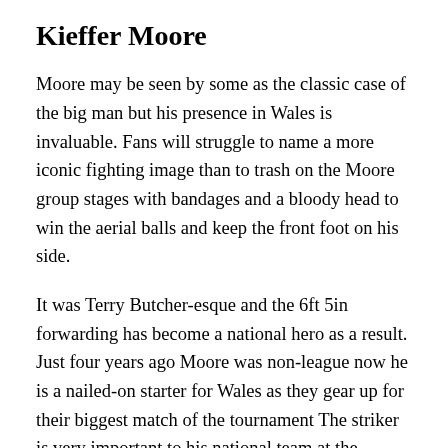Kieffer Moore
Moore may be seen by some as the classic case of the big man but his presence in Wales is invaluable. Fans will struggle to name a more iconic fighting image than to trash on the Moore group stages with bandages and a bloody head to win the aerial balls and keep the front foot on his side.
It was Terry Butcher-esque and the 6ft 5in forwarding has become a national hero as a result. Just four years ago Moore was non-league now he is a nailed-on starter for Wales as they gear up for their biggest match of the tournament The striker is very important to his national team at the moment boss Robert Page still decided to play him in the final group game against Italy even